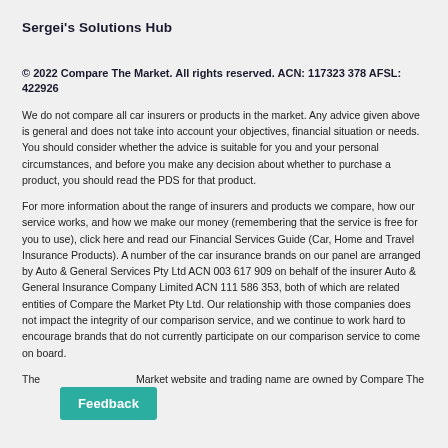Sergei's Solutions Hub
© 2022 Compare The Market. All rights reserved. ACN: 117323 378 AFSL: 422926
We do not compare all car insurers or products in the market. Any advice given above is general and does not take into account your objectives, financial situation or needs. You should consider whether the advice is suitable for you and your personal circumstances, and before you make any decision about whether to purchase a product, you should read the PDS for that product.
For more information about the range of insurers and products we compare, how our service works, and how we make our money (remembering that the service is free for you to use), click here and read our Financial Services Guide (Car, Home and Travel Insurance Products). A number of the car insurance brands on our panel are arranged by Auto & General Services Pty Ltd ACN 003 617 909 on behalf of the insurer Auto & General Insurance Company Limited ACN 111 586 353, both of which are related entities of Compare the Market Pty Ltd. Our relationship with those companies does not impact the integrity of our comparison service, and we continue to work hard to encourage brands that do not currently participate on our comparison service to come on board.
The Compare The Market website and trading name are owned by Compare The